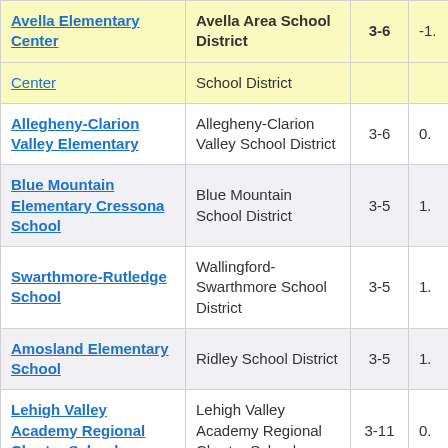| School Name | District | Grades | Value |
| --- | --- | --- | --- |
| Avella Elementary Center | Avella Area School District | 3-6 | -1. |
| Center | School District |  |  |
| Allegheny-Clarion Valley Elementary | Allegheny-Clarion Valley School District | 3-6 | 0. |
| Blue Mountain Elementary Cressona School | Blue Mountain School District | 3-5 | 1. |
| Swarthmore-Rutledge School | Wallingford-Swarthmore School District | 3-5 | 1. |
| Amosland Elementary School | Ridley School District | 3-5 | 1. |
| Lehigh Valley Academy Regional Charter School | Lehigh Valley Academy Regional Charter School | 3-11 | 0. |
| ... |  |  |  |